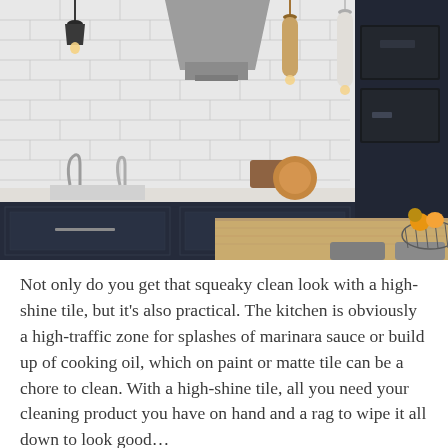[Figure (photo): Modern kitchen with white subway tile backsplash, stainless steel range hood, pendant lights with Edison bulbs, dark navy cabinets, wooden cutting board, wire basket with fruit, and double wall ovens on the right.]
Not only do you get that squeaky clean look with a high-shine tile, but it's also practical. The kitchen is obviously a high-traffic zone for splashes of marinara sauce or build up of cooking oil, which on paint or matte tile can be a chore to clean. With a high-shine tile, all you need your cleaning product you have on hand and a rag to wipe it all down to look good...